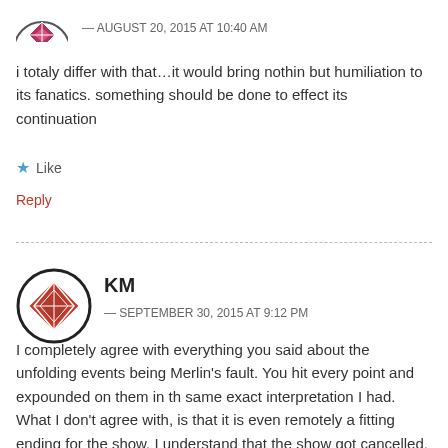[Figure (illustration): Small avatar icon with maroon/pink geometric pattern, partial view at top]
— AUGUST 20, 2015 AT 10:40 AM
i totaly differ with that…it would bring nothin but humiliation to its fanatics. something should be done to effect its continuation
★ Like
Reply
[Figure (illustration): Circular avatar with dark border containing maroon/brown geometric diamond pattern]
KM
— SEPTEMBER 30, 2015 AT 9:12 PM
I completely agree with everything you said about the unfolding events being Merlin's fault. You hit every point and expounded on them in th same exact interpretation I had. What I don't agree with, is that it is even remotely a fitting ending for the show. I understand that the show got cancelled, so there is no way to further the plot, but I feel like Merlin ultimately failed his destiny and let the King down. The last season was the worst.